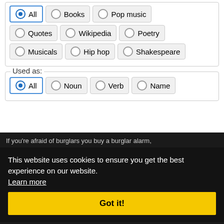All (selected), Books, Pop music, Quotes, Wikipedia, Poetry, Musicals, Hip hop, Shakespeare
Used as:
All (selected), Noun, Verb, Name
If you're afraid of burglars you buy a burglar alarm,
This website uses cookies to ensure you get the best experience on our website. Learn more
the rest of us think we should change our immigration system immediately, or else.
Got it!
Alarm sirens, the roar of aircraft, the blast of bombs. —Alfred Brendel